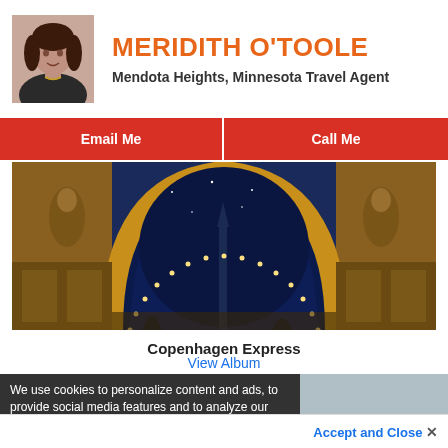MERIDITH O'TOOLE
Mendota Heights, Minnesota Travel Agent
Email Me
Call Me
[Figure (photo): Architectural arch with golden lights and blue night sky visible through the arch, with ornate stone carvings on the sides]
Copenhagen Express
View Album
We use cookies to personalize content and ads, to provide social media features and to analyze our traffic. We also share information about your use of our site with our social media, advertising and analytic partners. More info
Accept and Close ×
Your browser settings do not allow cross-site tracking for advertising. Click on this page to allow AdRoll to use cross-site tracking to tailor ads to you. Learn more or opt out of this AdRoll tracking by clicking here. This message only appears once.